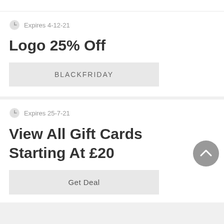Expires 4-12-21
Logo 25% Off
BLACKFRIDAY
Expires 25-7-21
View All Gift Cards Starting At £20
Get Deal